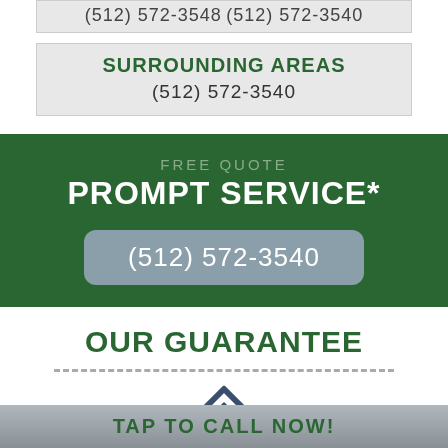(512) 572-3540
SURROUNDING AREAS
(512) 572-3540
FREE QUOTE
PROMPT SERVICE*
(512) 572-3540
OUR GUARANTEE
[Figure (illustration): Roof/house icon in dark slate blue color]
TAP TO CALL NOW!